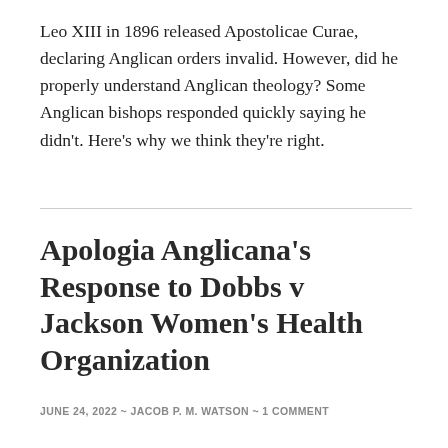Leo XIII in 1896 released Apostolicae Curae, declaring Anglican orders invalid. However, did he properly understand Anglican theology? Some Anglican bishops responded quickly saying he didn't. Here's why we think they're right.
Apologia Anglicana's Response to Dobbs v Jackson Women's Health Organization
JUNE 24, 2022 ~ JACOB P. M. WATSON ~ 1 COMMENT